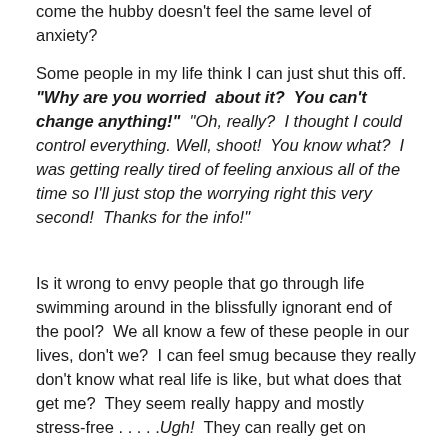come the hubby doesn't feel the same level of anxiety?
Some people in my life think I can just shut this off. "Why are you worried about it? You can't change anything!" "Oh, really? I thought I could control everything. Well, shoot! You know what? I was getting really tired of feeling anxious all of the time so I'll just stop the worrying right this very second! Thanks for the info!"
Is it wrong to envy people that go through life swimming around in the blissfully ignorant end of the pool? We all know a few of these people in our lives, don't we? I can feel smug because they really don't know what real life is like, but what does that get me? They seem really happy and mostly stress-free . . . . .Ugh! They can really get on